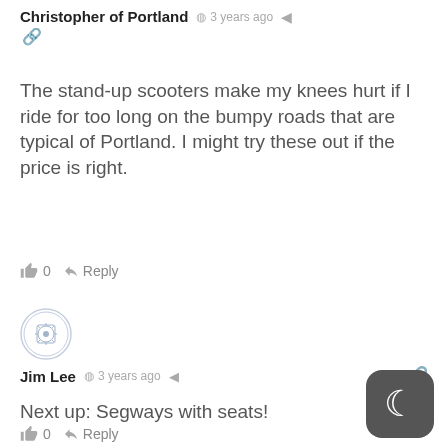Christopher of Portland — 3 years ago
The stand-up scooters make my knees hurt if I ride for too long on the bumpy roads that are typical of Portland. I might try these out if the price is right.
0  Reply
[Figure (illustration): Circular avatar icon with decorative pattern, blue/grey tones]
Jim Lee — 3 years ago
Next up: Segways with seats!
0  Reply
[Figure (illustration): Circular avatar icon with red/maroon star/flower pattern]
J_R — 3 years ago
How about adding extra wheels for